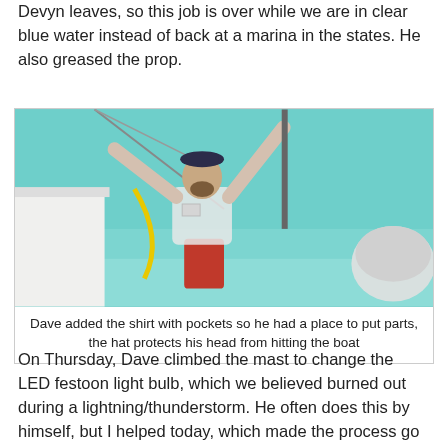Devyn leaves, so this job is over while we are in clear blue water instead of back at a marina in the states.  He also greased the prop.
[Figure (photo): A man standing in clear turquoise water next to a sailboat, wearing a wet long-sleeve shirt with pockets and a hat, holding ropes/lines with both hands raised. A yellow hose and gray inflatable dinghy are visible in the background.]
Dave added the shirt with pockets so he had a place to put parts, the hat protects his head from hitting the boat
On Thursday, Dave climbed the mast to change the LED festoon light bulb, which we believed burned out during a lightning/thunderstorm.  He often does this by himself, but I helped today, which made the process go a little faster.  Dave wore a climbing harness today.  Sometimes he uses a